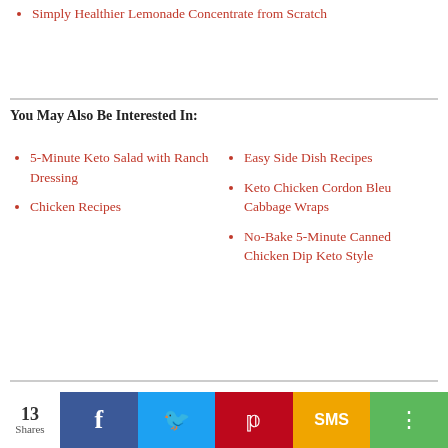Simply Healthier Lemonade Concentrate from Scratch
You May Also Be Interested In:
5-Minute Keto Salad with Ranch Dressing
Chicken Recipes
Easy Side Dish Recipes
Keto Chicken Cordon Bleu Cabbage Wraps
No-Bake 5-Minute Canned Chicken Dip Keto Style
13 Shares  f  t  p  SMS  share